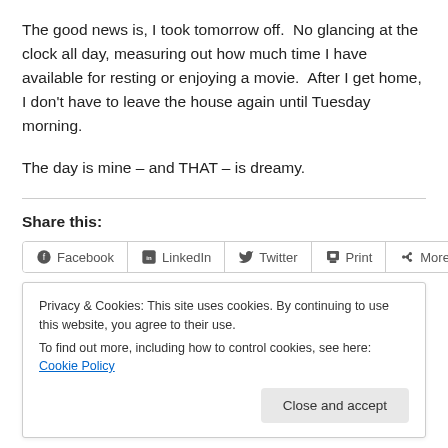The good news is, I took tomorrow off.  No glancing at the clock all day, measuring out how much time I have available for resting or enjoying a movie.  After I get home, I don't have to leave the house again until Tuesday morning.
The day is mine – and THAT – is dreamy.
Share this:
[Figure (screenshot): Share buttons row with Facebook, LinkedIn, Twitter, Print, More]
Privacy & Cookies: This site uses cookies. By continuing to use this website, you agree to their use.
To find out more, including how to control cookies, see here: Cookie Policy